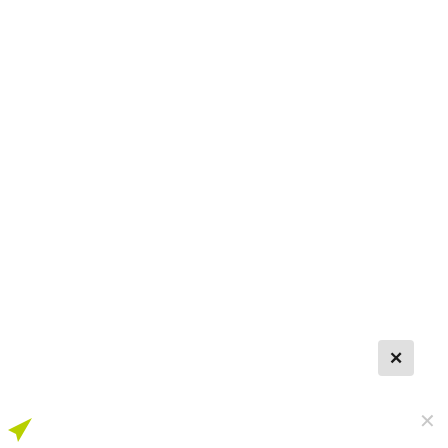NOVAK DJOKOVIC
[Figure (other): Close/delete button box with X symbol, dark fill on light grey background]
[Figure (other): Light grey X close symbol]
[Figure (other): Yellow-green navigation/send arrow pointing left-down]